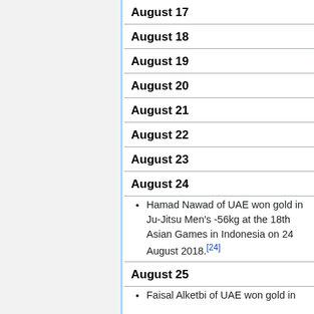August 17
August 18
August 19
August 20
August 21
August 22
August 23
August 24
Hamad Nawad of UAE won gold in Ju-Jitsu Men's -56kg at the 18th Asian Games in Indonesia on 24 August 2018.[24]
August 25
Faisal Alketbi of UAE won gold in